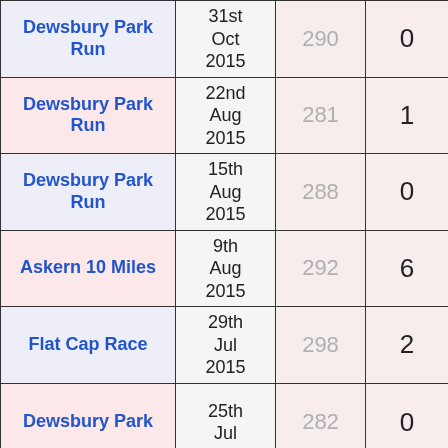| Event | Date |  |  |
| --- | --- | --- | --- |
| Dewsbury Park Run | 31st Oct 2015 | 290 | 0 |
| Dewsbury Park Run | 22nd Aug 2015 | 281 | 1 |
| Dewsbury Park Run | 15th Aug 2015 | 288 | 0 |
| Askern 10 Miles | 9th Aug 2015 | 292 | 6 |
| Flat Cap Race | 29th Jul 2015 | 298 | 2 |
| Dewsbury Park | 25th Jul | 282 | 0 |